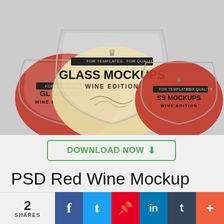[Figure (photo): Three stemless wine glasses showing 'Glass Mockups Wine Edition' label design. Two glasses contain red wine (left and right), one contains white/golden wine (center, taller). Each glass has a decorative banner label with crown motif reading 'GLASS MOCKUPS WINE EDITION'.]
DOWNLOAD NOW ↓
PSD Red Wine Mockup Set
[Figure (other): Partial preview strip showing thumbnail color swatches/bottle caps: silver, red/orange, gold/yellow, orange-red]
2 SHARES
f
t
p
in
t
+